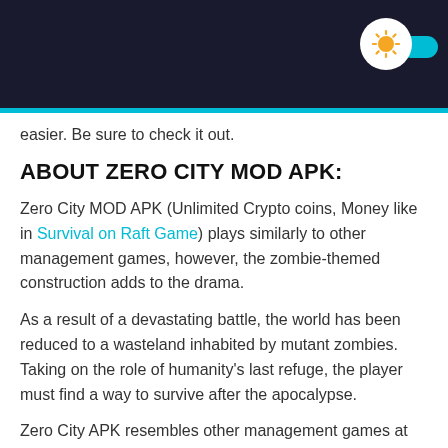easier. Be sure to check it out.
ABOUT ZERO CITY MOD APK:
Zero City MOD APK (Unlimited Crypto coins, Money like in Survival on Raft Game) plays similarly to other management games, however, the zombie-themed construction adds to the drama.
As a result of a devastating battle, the world has been reduced to a wasteland inhabited by mutant zombies. Taking on the role of humanity's last refuge, the player must find a way to survive after the apocalypse.
Zero City APK resembles other management games at first glance. Therefore, if you are used to this kind of game, you understand exactly how it works. It's also divided into chapters